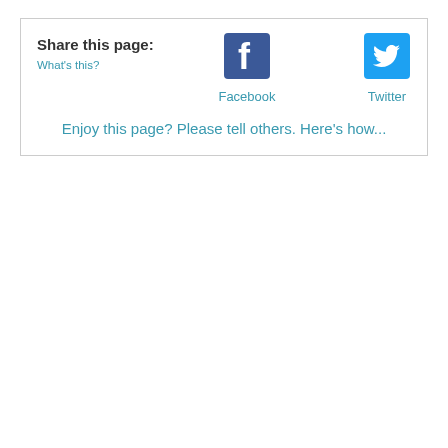Share this page:
What's this?
[Figure (logo): Facebook logo icon in blue]
Facebook
[Figure (logo): Twitter bird logo icon in blue]
Twitter
Enjoy this page? Please tell others. Here's how...